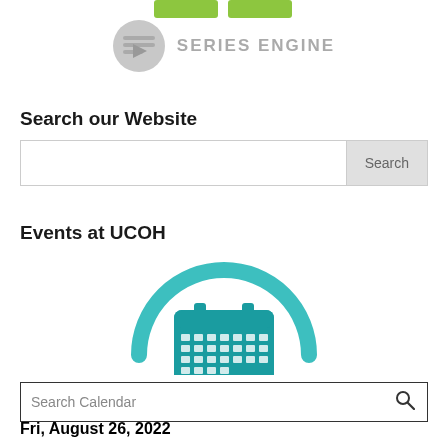[Figure (logo): Series Engine logo with play button icon and gray text 'SERIES ENGINE']
Search our Website
[Figure (screenshot): Search input box with 'Search' button on the right]
Events at UCOH
[Figure (illustration): Calendar icon with teal arc above it, representing an events/calendar widget]
[Figure (screenshot): Search Calendar input box with magnifying glass icon]
Fri, August 26, 2022